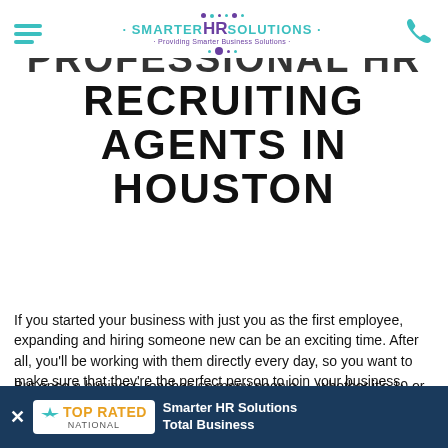SmarterHRSolutions - Providing Smarter Business Solutions
PROFESSIONAL HR RECRUITING AGENTS IN HOUSTON
If you started your business with just you as the first employee, expanding and hiring someone new can be an exciting time. After all, you'll be working with them directly every day, so you want to make sure that they're the perfect person to join your business.
But once a business reaches so many people — whether it's 10 or 100 or 10,000 — there comes a point at which hiring becomes a much more labor-intensive process. At some point, the owner of the business will have to pass the hiring process onto someone else, someone who recommendations